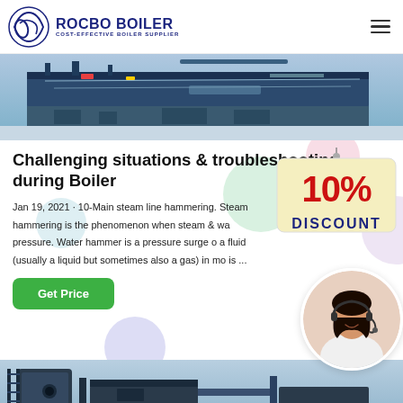ROCBO BOILER - COST-EFFECTIVE BOILER SUPPLIER
[Figure (photo): Industrial boiler equipment / piping machinery photo - top hero image]
Challenging situations & troubleshooting during Boiler
Jan 19, 2021 · 10-Main steam line hammering. Steam hammering is the phenomenon when steam & water pressure. Water hammer is a pressure surge of a fluid (usually a liquid but sometimes also a gas) in motion is ...
[Figure (photo): 10% DISCOUNT badge/sign overlay]
[Figure (photo): Customer service representative with headset - circular photo]
[Figure (photo): Industrial boiler/pipe equipment - bottom photo]